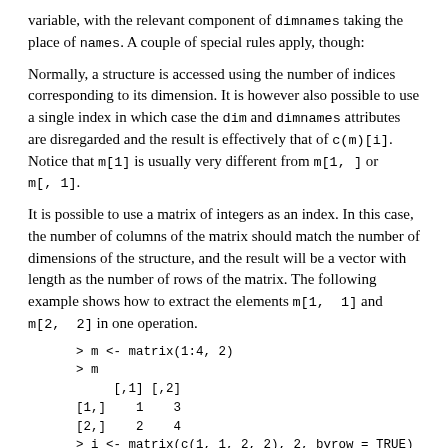variable, with the relevant component of dimnames taking the place of names. A couple of special rules apply, though:
Normally, a structure is accessed using the number of indices corresponding to its dimension. It is however also possible to use a single index in which case the dim and dimnames attributes are disregarded and the result is effectively that of c(m)[i]. Notice that m[1] is usually very different from m[1, ] or m[, 1].
It is possible to use a matrix of integers as an index. In this case, the number of columns of the matrix should match the number of dimensions of the structure, and the result will be a vector with length as the number of rows of the matrix. The following example shows how to extract the elements m[1, 1] and m[2, 2] in one operation.
> m <- matrix(1:4, 2)
> m
     [,1] [,2]
[1,]    1    3
[2,]    2    4
> i <- matrix(c(1, 1, 2, 2), 2, byrow = TRUE)
> i
     [,1] [,2]
[1,]    1    1
[2,]    2    2
> m[i]
[1] 1 4